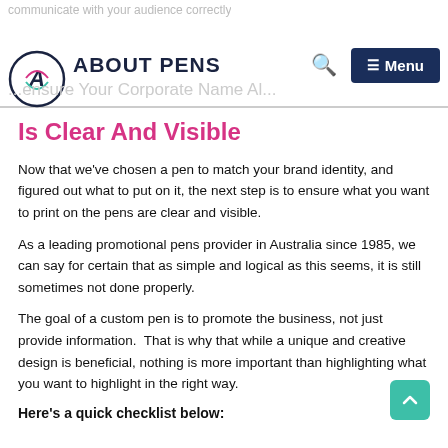About Pens
Is Clear And Visible
Now that we've chosen a pen to match your brand identity, and figured out what to put on it, the next step is to ensure what you want to print on the pens are clear and visible.
As a leading promotional pens provider in Australia since 1985, we can say for certain that as simple and logical as this seems, it is still sometimes not done properly.
The goal of a custom pen is to promote the business, not just provide information.  That is why that while a unique and creative design is beneficial, nothing is more important than highlighting what you want to highlight in the right way.
Here's a quick checklist below: